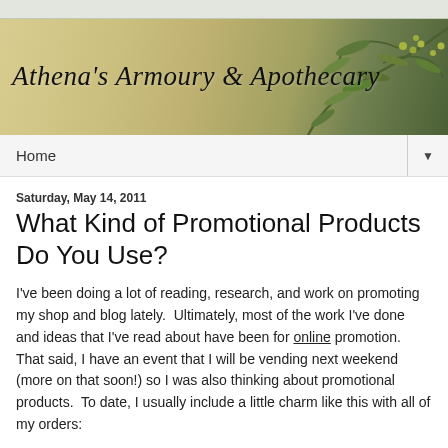[Figure (illustration): Blog header banner for Athena's Armoury & Apothecary with olive branches and parchment texture background, script font logo text]
Home ▼
Saturday, May 14, 2011
What Kind of Promotional Products Do You Use?
I've been doing a lot of reading, research, and work on promoting my shop and blog lately.  Ultimately, most of the work I've done and ideas that I've read about have been for online promotion.  That said, I have an event that I will be vending next weekend (more on that soon!) so I was also thinking about promotional products.  To date, I usually include a little charm like this with all of my orders: